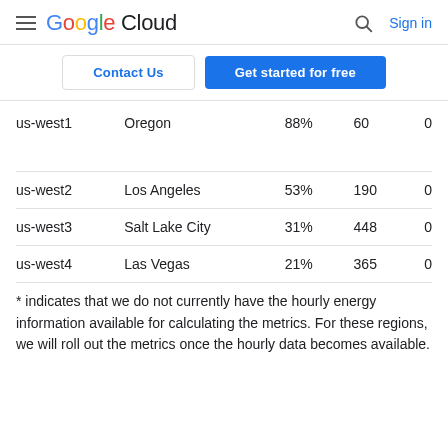Google Cloud  Sign in
Contact Us  Get started for free
| us-west1 | Oregon | 88% | 60 | 0 |
| us-west2 | Los Angeles | 53% | 190 | 0 |
| us-west3 | Salt Lake City | 31% | 448 | 0 |
| us-west4 | Las Vegas | 21% | 365 | 0 |
* indicates that we do not currently have the hourly energy information available for calculating the metrics. For these regions, we will roll out the metrics once the hourly data becomes available.